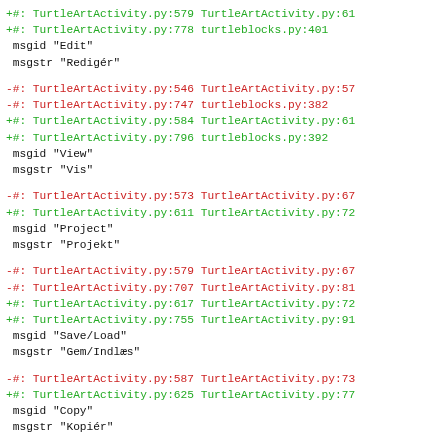+#: TurtleArtActivity.py:579 TurtleArtActivity.py:61
+#: TurtleArtActivity.py:778 turtleblocks.py:401
 msgid "Edit"
 msgstr "Redigér"
-#: TurtleArtActivity.py:546 TurtleArtActivity.py:57
-#: TurtleArtActivity.py:747 turtleblocks.py:382
+#: TurtleArtActivity.py:584 TurtleArtActivity.py:61
+#: TurtleArtActivity.py:796 turtleblocks.py:392
 msgid "View"
 msgstr "Vis"
-#: TurtleArtActivity.py:573 TurtleArtActivity.py:67
+#: TurtleArtActivity.py:611 TurtleArtActivity.py:72
 msgid "Project"
 msgstr "Projekt"
-#: TurtleArtActivity.py:579 TurtleArtActivity.py:67
-#: TurtleArtActivity.py:707 TurtleArtActivity.py:81
+#: TurtleArtActivity.py:617 TurtleArtActivity.py:72
+#: TurtleArtActivity.py:755 TurtleArtActivity.py:91
 msgid "Save/Load"
 msgstr "Gem/Indlæs"
-#: TurtleArtActivity.py:587 TurtleArtActivity.py:73
+#: TurtleArtActivity.py:625 TurtleArtActivity.py:77
 msgid "Copy"
 msgstr "Kopiér"
-#: TurtleArtActivity.py:589 TurtleArtActivity.py:73